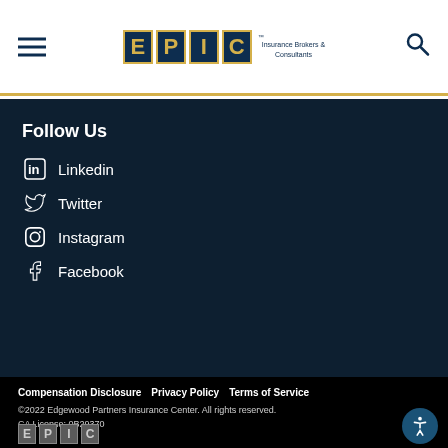EPIC Insurance Brokers & Consultants
Follow Us
Linkedin
Twitter
Instagram
Facebook
Compensation Disclosure  Privacy Policy  Terms of Service
©2022 Edgewood Partners Insurance Center. All rights reserved.
CA License: 0B29370